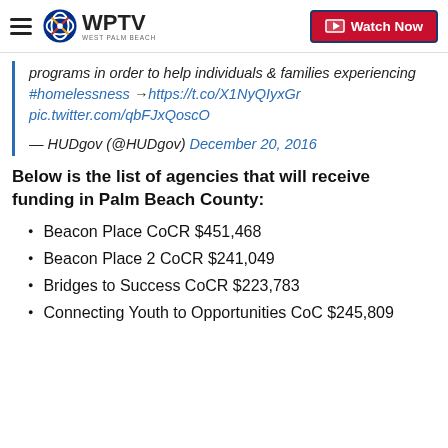WPTV — Watch Now
programs in order to help individuals & families experiencing #homelessness → https://t.co/X1NyQIyxGr pic.twitter.com/qbFJxQoscO
— HUDgov (@HUDgov) December 20, 2016
Below is the list of agencies that will receive funding in Palm Beach County:
Beacon Place CoCR $451,468
Beacon Place 2 CoCR $241,049
Bridges to Success CoCR $223,783
Connecting Youth to Opportunities CoC $245,809